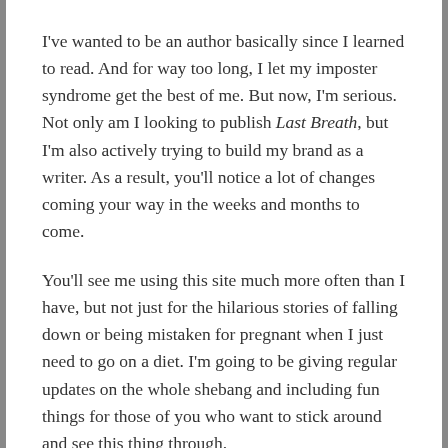I've wanted to be an author basically since I learned to read. And for way too long, I let my imposter syndrome get the best of me. But now, I'm serious. Not only am I looking to publish Last Breath, but I'm also actively trying to build my brand as a writer. As a result, you'll notice a lot of changes coming your way in the weeks and months to come.
You'll see me using this site much more often than I have, but not just for the hilarious stories of falling down or being mistaken for pregnant when I just need to go on a diet. I'm going to be giving regular updates on the whole shebang and including fun things for those of you who want to stick around and see this thing through.
It's only here that you can be a tick away from a life you're...